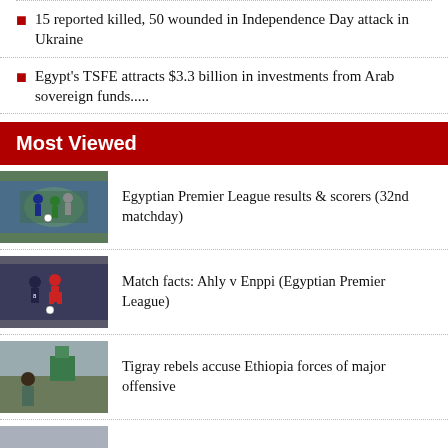15 reported killed, 50 wounded in Independence Day attack in Ukraine
Egypt's TSFE attracts $3.3 billion in investments from Arab sovereign funds.....
Most Viewed
[Figure (photo): Soccer players during a match, Egyptian Premier League]
Egyptian Premier League results & scorers (32nd matchday)
[Figure (photo): Soccer players during Ahly v Enppi match]
Match facts: Ahly v Enppi (Egyptian Premier League)
[Figure (photo): Tigray rebels and Ethiopia forces conflict scene]
Tigray rebels accuse Ethiopia forces of major offensive
[Figure (photo): Cars in a parking lot, Egypt automotive market]
Why is Egypt's automotive market stagnant?